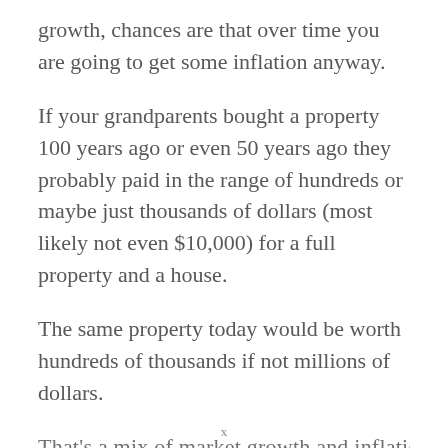growth, chances are that over time you are going to get some inflation anyway.
If your grandparents bought a property 100 years ago or even 50 years ago they probably paid in the range of hundreds or maybe just thousands of dollars (most likely not even $10,000) for a full property and a house.
The same property today would be worth hundreds of thousands if not millions of dollars.
That's a mix of market growth and inflation at th—
x